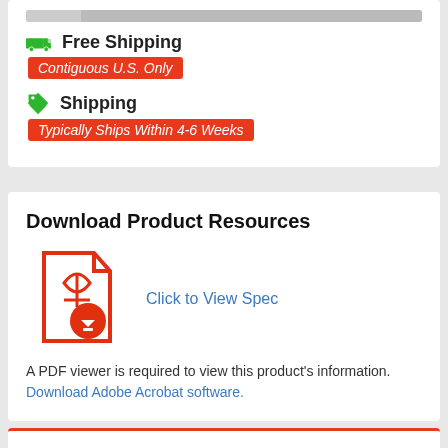Free Shipping
Contiguous U.S. Only
Shipping
Typically Ships Within 4-6 Weeks
Download Product Resources
[Figure (illustration): Red PDF document icon with download arrow]
Click to View Spec
A PDF viewer is required to view this product's information. Download Adobe Acrobat software.